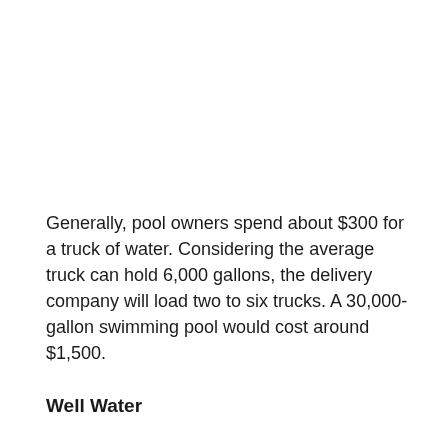Generally, pool owners spend about $300 for a truck of water. Considering the average truck can hold 6,000 gallons, the delivery company will load two to six trucks. A 30,000-gallon swimming pool would cost around $1,500.
Well Water